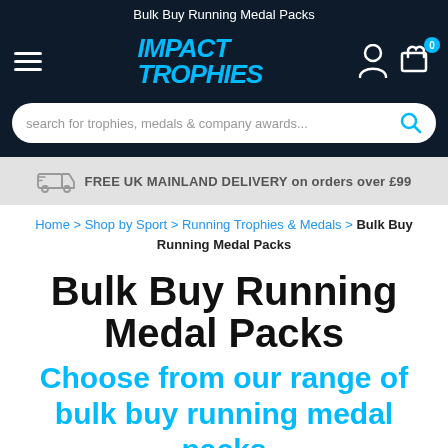Bulk Buy Running Medal Packs
[Figure (logo): Impact Trophies logo with hamburger menu, user icon, and cart icon with badge 0]
[Figure (other): Search bar with placeholder: search for trophies, medals & company awards...]
FREE UK MAINLAND DELIVERY on orders over £99
Home > Shop by Sport > Running Trophies & Medals > Bulk Buy Running Medal Packs
Bulk Buy Running Medal Packs
Choose from our range of bulk buy running medal packs